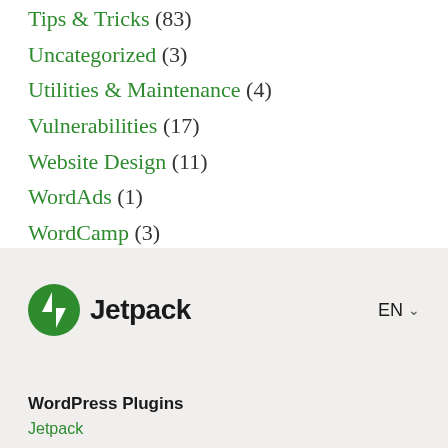Tips & Tricks (83)
Uncategorized (3)
Utilities & Maintenance (4)
Vulnerabilities (17)
Website Design (11)
WordAds (1)
WordCamp (3)
[Figure (logo): Jetpack logo: green circle with white lightning bolt, followed by bold text 'Jetpack']
EN ∨
WordPress Plugins
Jetpack